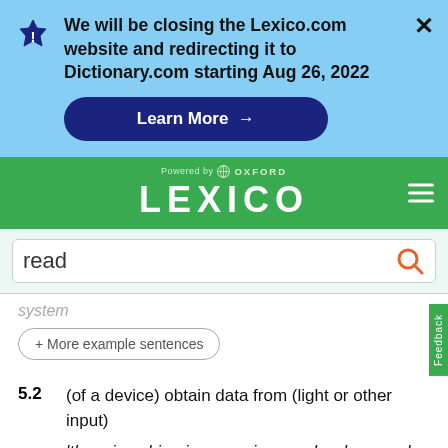We will be closing the Lexico.com website and redirecting it to Dictionary.com starting Aug 26, 2022
Learn More →
[Figure (logo): Lexico powered by Oxford logo on green background]
read
system
+ More example sentences
5.2  (of a device) obtain data from (light or other input)
'the microchip gives a unique code when read by the scanner'
Back To School Essentials  Leesburg Premium Outlets